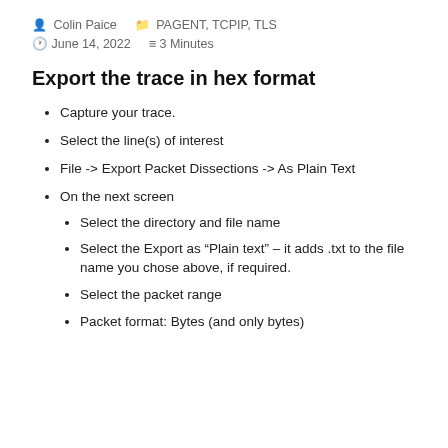Colin Paice  PAGENT, TCPIP, TLS
June 14, 2022  3 Minutes
Export the trace in hex format
Capture your trace.
Select the line(s) of interest
File -> Export Packet Dissections -> As Plain Text
On the next screen
Select the directory and file name
Select the Export as “Plain text” – it adds .txt to the file name you chose above, if required.
Select the packet range
Packet format: Bytes (and only bytes)